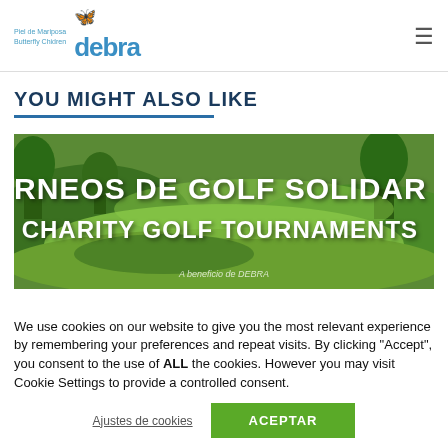Piel de Mariposa Butterfly Children debra
YOU MIGHT ALSO LIKE
[Figure (photo): Golf course with green fairways and trees, overlaid with text 'RNEOS DE GOLF SOLIDAR' and 'CHARITY GOLF TOURNAMENTS' and 'A beneficio de DEBRA']
We use cookies on our website to give you the most relevant experience by remembering your preferences and repeat visits. By clicking "Accept", you consent to the use of ALL the cookies. However you may visit Cookie Settings to provide a controlled consent.
Ajustes de cookies | ACEPTAR